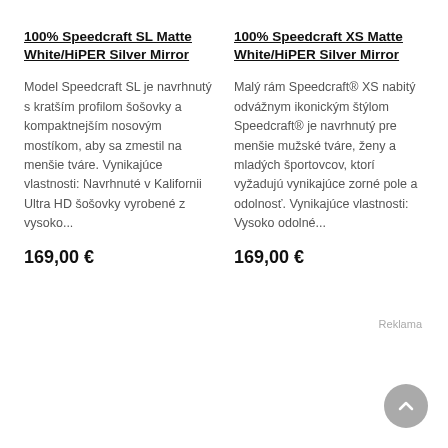100% Speedcraft SL Matte White/HiPER Silver Mirror
Model Speedcraft SL je navrhnutý s kratším profilom šošovky a kompaktnejším nosovým mostíkom, aby sa zmestil na menšie tváre. Vynikajúce vlastnosti: Navrhnuté v Kalifornii Ultra HD šošovky vyrobené z vysoko...
169,00 €
100% Speedcraft XS Matte White/HiPER Silver Mirror
Malý rám Speedcraft® XS nabitý odvážnym ikonickým štýlom Speedcraft® je navrhnutý pre menšie mužské tváre, ženy a mladých športovcov, ktorí vyžadujú vynikajúce zorné pole a odolnosť. Vynikajúce vlastnosti: Vysoko odolné...
169,00 €
Reklama